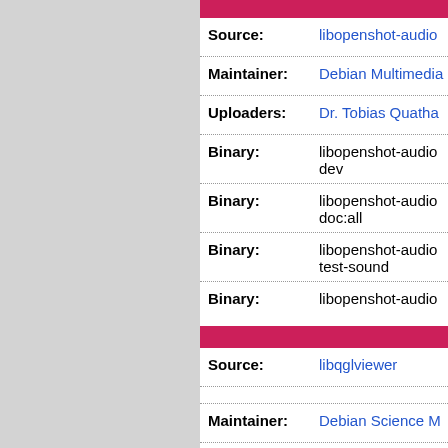| Field | Value |
| --- | --- |
| Source: | libopenshot-audio |
| Maintainer: | Debian Multimedia |
| Uploaders: | Dr. Tobias Quatha |
| Binary: | libopenshot-audio dev |
| Binary: | libopenshot-audio doc:all |
| Binary: | libopenshot-audio test-sound |
| Binary: | libopenshot-audio |
| Field | Value |
| --- | --- |
| Source: | libqglviewer |
| Maintainer: | Debian Science M |
| Uploaders: | Anton Gladky <gla |
| Binary: | libqglviewer-dev-c |